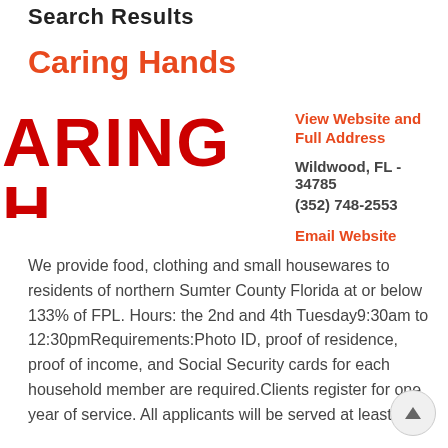Search Results
Caring Hands
[Figure (logo): Caring Hands Food & Clothing logo with large red bold text showing 'CARING H' on first line and 'OD & CLOTHING' on second line, partially cropped]
View Website and Full Address
Wildwood, FL - 34785
(352) 748-2553
Email Website
We provide food, clothing and small housewares to residents of northern Sumter County Florida at or below 133% of FPL. Hours: the 2nd and 4th Tuesday9:30am to 12:30pmRequirements:Photo ID, proof of residence, proof of income, and Social Security cards for each household member are required.Clients register for one year of service. All applicants will be served at least